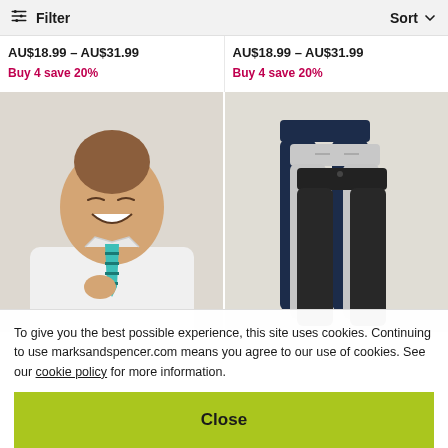Filter   Sort
Polo Shirts (3-16 Yrs)
AU$18.99 – AU$31.99
Buy 4 save 20%
Polo Shirts (3-16 Yrs)
AU$18.99 – AU$31.99
Buy 4 save 20%
[Figure (photo): Smiling young girl with hair in a bun, wearing a white polo shirt and teal striped tie]
[Figure (photo): Three pairs of school trousers/leggings laid flat: navy, grey, and black]
To give you the best possible experience, this site uses cookies. Continuing to use marksandspencer.com means you agree to our use of cookies. See our cookie policy for more information.
Close